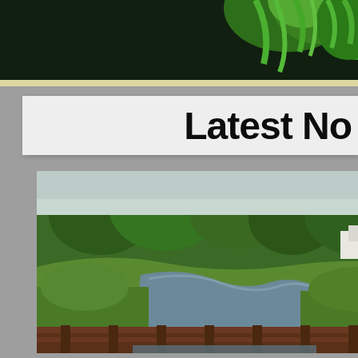[Figure (photo): Top banner area with dark background and green grass/foliage visible at top right corner]
Latest No
[Figure (photo): Outdoor nature photo showing a small creek or stream with lush green vegetation and trees along the banks, with a wooden railing in the foreground and buildings visible in the background]
Inva Spe Era
Japanese K species, cho